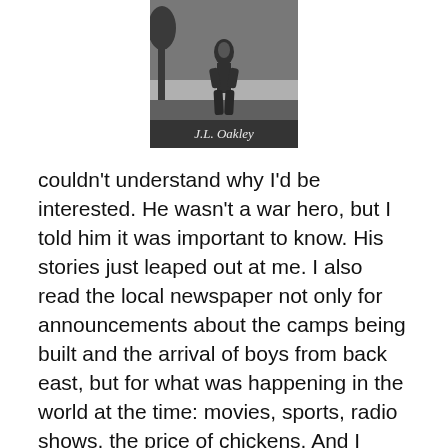[Figure (photo): Book cover image showing a figure (person) in a dark, dramatic outdoor scene with text 'J.L. Oakley' visible at the bottom]
couldn't understand why I'd be interested. He wasn't a war hero, but I told him it was important to know. His stories just leaped out at me. I also read the local newspaper not only for announcements about the camps being built and the arrival of boys from back east, but for what was happening in the world at the time: movies, sports, radio shows, the price of chickens. And I went out looking for the projects.
What advice do you have for new authors who want to write historical fiction?
Well, you have to have a good story just as in any genre. Once you get the muse going, you're going to have to do